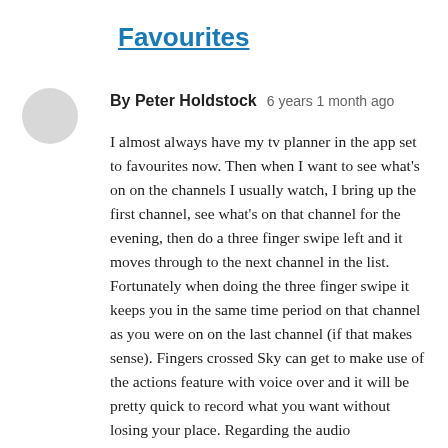Favourites
By Peter Holdstock   6 years 1 month ago
I almost always have my tv planner in the app set to favourites now. Then when I want to see what's on on the channels I usually watch, I bring up the first channel, see what's on that channel for the evening, then do a three finger swipe left and it moves through to the next channel in the list. Fortunately when doing the three finger swipe it keeps you in the same time period on that channel as you were on on the last channel (if that makes sense). Fingers crossed Sky can get to make use of the actions feature with voice over and it will be pretty quick to record what you want without losing your place. Regarding the audio description...